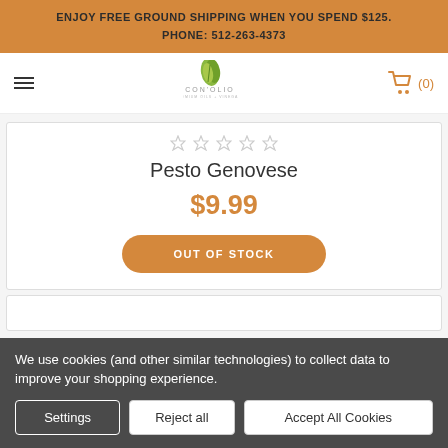ENJOY FREE GROUND SHIPPING WHEN YOU SPEND $125.
PHONE: 512-263-4373
[Figure (logo): Con'Olio logo with green leaf icon and store name]
[Figure (illustration): Shopping cart icon with (0) item count]
[Figure (illustration): Five empty star rating icons]
Pesto Genovese
$9.99
OUT OF STOCK
We use cookies (and other similar technologies) to collect data to improve your shopping experience.
Settings
Reject all
Accept All Cookies